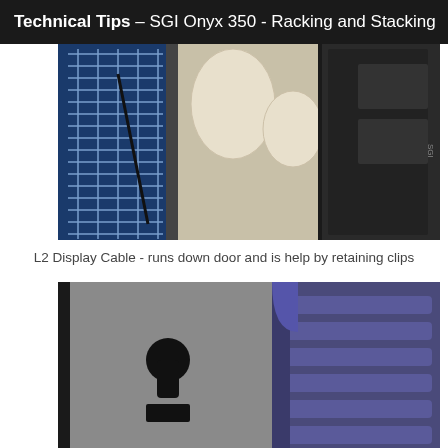Technical Tips – SGI Onyx 350 - Racking and Stacking
[Figure (photo): Close-up photo of SGI Onyx 350 door interior showing L2 display cable running down the door held by retaining clips. Blue metal grid/grate visible on left, beige oval rubber grommets and dark perforated panels on right.]
L2 Display Cable - runs down door and is help by retaining clips
[Figure (photo): Close-up photo showing metal panel with keyhole-shaped slot cutout (black), and blue plastic ribbed/vented side panel of SGI Onyx 350 rack unit.]